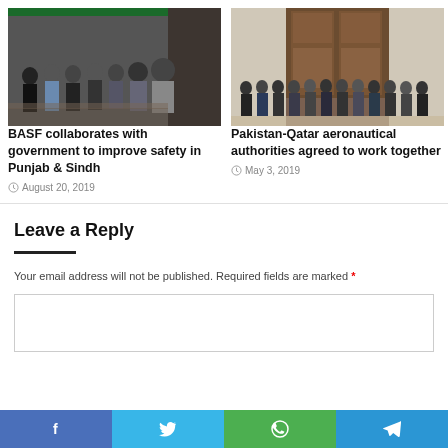[Figure (photo): Group photo of BASF representatives and government officials indoors at a meeting/collaboration event]
BASF collaborates with government to improve safety in Punjab & Sindh
August 20, 2019
[Figure (photo): Group photo of Pakistan-Qatar aeronautical authority officials in formal attire, posed in front of an ornate wooden door]
Pakistan-Qatar aeronautical authorities agreed to work together
May 3, 2019
Leave a Reply
Your email address will not be published. Required fields are marked *